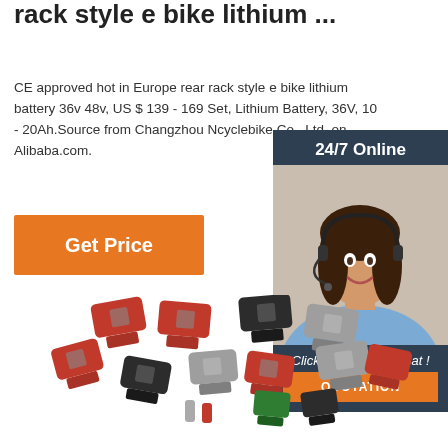rack style e bike lithium ...
CE approved hot in Europe rear rack style e bike lithium battery 36v 48v, US $ 139 - 169 Set, Lithium Battery, 36V, 10 - 20Ah.Source from Changzhou Ncyclebike Co., Ltd. on Alibaba.com.
[Figure (other): Orange 'Get Price' button]
[Figure (other): Sidebar with '24/7 Online' header, photo of woman with headset smiling, 'Click here for free chat!' text, and orange 'QUOTATION' button on dark navy background]
[Figure (photo): Product photo showing multiple electrical connectors/plugs in various colors including red, black, gray, and green, arranged in a scattered pile on white background]